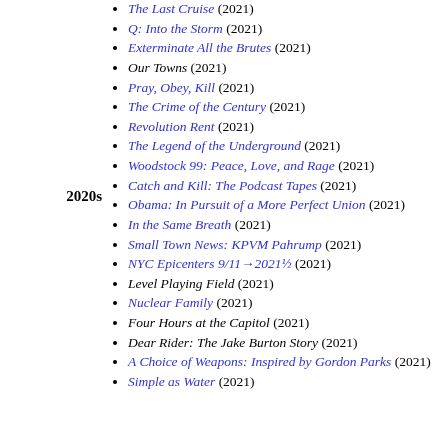Q: Into the Storm (2021)
Exterminate All the Brutes (2021)
Our Towns (2021)
Pray, Obey, Kill (2021)
The Crime of the Century (2021)
Revolution Rent (2021)
The Legend of the Underground (2021)
Woodstock 99: Peace, Love, and Rage (2021)
Catch and Kill: The Podcast Tapes (2021)
2020s
Obama: In Pursuit of a More Perfect Union (2021)
In the Same Breath (2021)
Small Town News: KPVM Pahrump (2021)
NYC Epicenters 9/11→2021½ (2021)
Level Playing Field (2021)
Nuclear Family (2021)
Four Hours at the Capitol (2021)
Dear Rider: The Jake Burton Story (2021)
A Choice of Weapons: Inspired by Gordon Parks (2021)
Simple as Water (2021)